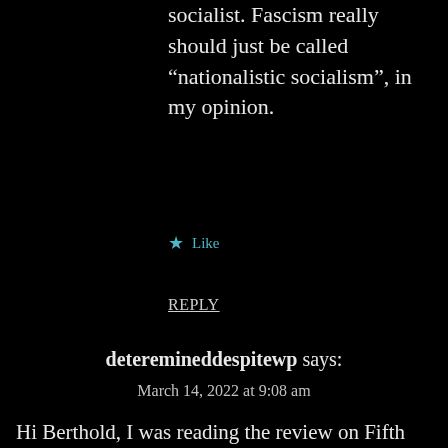socialist. Fascism really should just be called “nationalistic socialism”, in my opinion.
★ Like
REPLY
deteremineddespitewp says:
March 14, 2022 at 9:08 am
Hi Berthold, I was reading the review on Fifth Element under Action Movies and